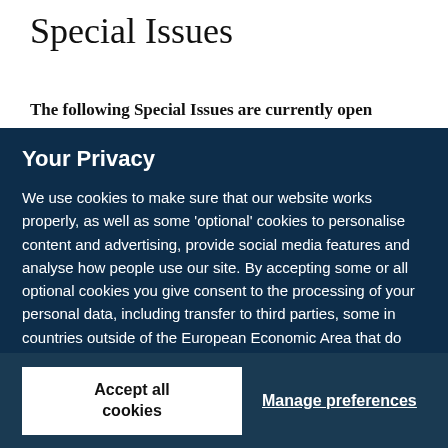Special Issues
The following Special Issues are currently open
Your Privacy
We use cookies to make sure that our website works properly, as well as some ‘optional’ cookies to personalise content and advertising, provide social media features and analyse how people use our site. By accepting some or all optional cookies you give consent to the processing of your personal data, including transfer to third parties, some in countries outside of the European Economic Area that do not offer the same data protection standards as the country where you live. You can decide which optional cookies to accept by clicking on ‘Manage Settings’, where you can also find more information about how your personal data is processed. Further information can be found in our privacy policy.
Accept all cookies
Manage preferences